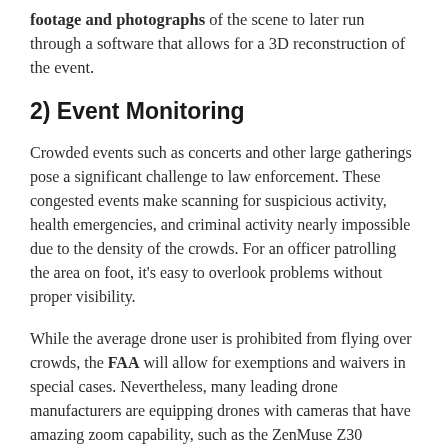footage and photographs of the scene to later run through a software that allows for a 3D reconstruction of the event.
2) Event Monitoring
Crowded events such as concerts and other large gatherings pose a significant challenge to law enforcement. These congested events make scanning for suspicious activity, health emergencies, and criminal activity nearly impossible due to the density of the crowds. For an officer patrolling the area on foot, it's easy to overlook problems without proper visibility.
While the average drone user is prohibited from flying over crowds, the FAA will allow for exemptions and waivers in special cases. Nevertheless, many leading drone manufacturers are equipping drones with cameras that have amazing zoom capability, such as the ZenMuse Z30